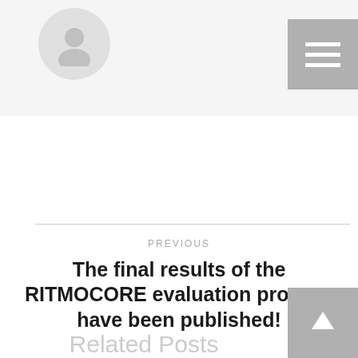[Figure (illustration): Website header bar with a circular avatar/profile placeholder icon on the left and a hamburger menu button (three horizontal white lines) on the right, on a light grey background]
PREVIOUS
The final results of the RITMOCORE evaluation process have been published!
NEXT
Press Release: RITMOCORE SERVICES IMPLEMENTATION
[Figure (illustration): Scroll-to-top button: grey square with a white upward arrow icon]
Related Posts